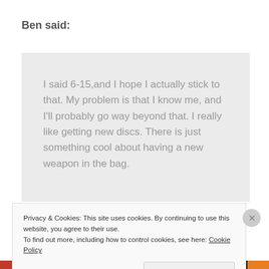Ben said:
I said 6-15,and I hope I actually stick to that. My problem is that I know me, and I'll probably go way beyond that. I really like getting new discs. There is just something cool about having a new weapon in the bag.
Very true, as long as the finances can handle the
Privacy & Cookies: This site uses cookies. By continuing to use this website, you agree to their use.
To find out more, including how to control cookies, see here: Cookie Policy
Close and accept